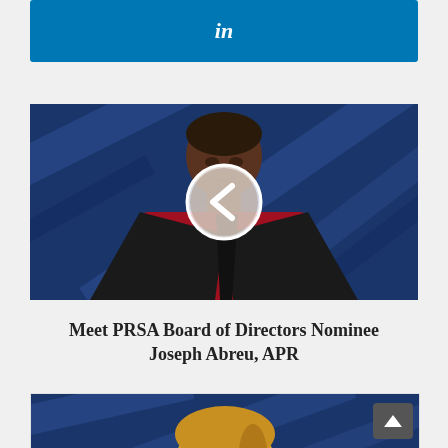[Figure (logo): LinkedIn 'in' logo button, teal/blue background with white 'in' text]
[Figure (photo): Professional headshot of Joseph Abreu, APR — man in dark suit and red shirt/tie against blue diagonal background, with circular navigation arrow overlay]
Meet PRSA Board of Directors Nominee Joseph Abreu, APR
[Figure (photo): Partial headshot of a blonde woman against blue diagonal background]